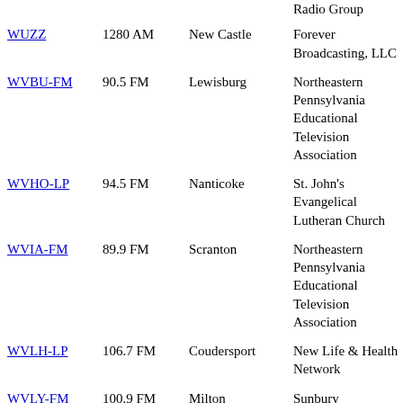| Call sign | Frequency | City | Owner | Format |
| --- | --- | --- | --- | --- |
| WUZZ | 1280 AM | New Castle | Forever Broadcasting, LLC | Classic hits |
| WVBU-FM | 90.5 FM | Lewisburg | Northeastern Pennsylvania Educational Television Association | Alternative |
| WVHO-LP | 94.5 FM | Nanticoke | St. John's Evangelical Lutheran Church | Christian r... |
| WVIA-FM | 89.9 FM | Scranton | Northeastern Pennsylvania Educational Television Association | Public radi... |
| WVLH-LP | 106.7 FM | Coudersport | New Life & Health Network | Christian r... |
| WVLY-FM | 100.9 FM | Milton | Sunbury Broadcasting Corporation | Adult cont... |
| WVME | 91.9 FM | Meadville | The Moody Bible Institute of | Religious |